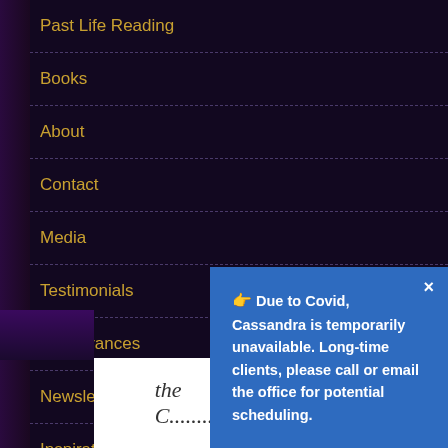Past Life Reading
Books
About
Contact
Media
Testimonials
Appearances
Newsletter
Inspirational
× Due to Covid, Cassandra is temporarily unavailable. Long-time clients, please call or email the office for potential scheduling.
[Figure (photo): Partial view of a book cover showing the text 'The C...' in italic script]